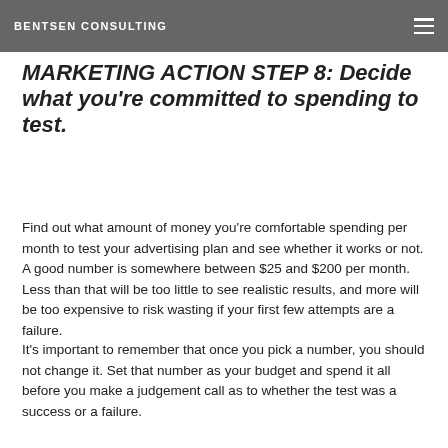BENTSEN CONSULTING
MARKETING ACTION STEP 8: Decide what you're committed to spending to test.
Find out what amount of money you're comfortable spending per month to test your advertising plan and see whether it works or not. A good number is somewhere between $25 and $200 per month. Less than that will be too little to see realistic results, and more will be too expensive to risk wasting if your first few attempts are a failure.
It's important to remember that once you pick a number, you should not change it. Set that number as your budget and spend it all before you make a judgement call as to whether the test was a success or a failure.